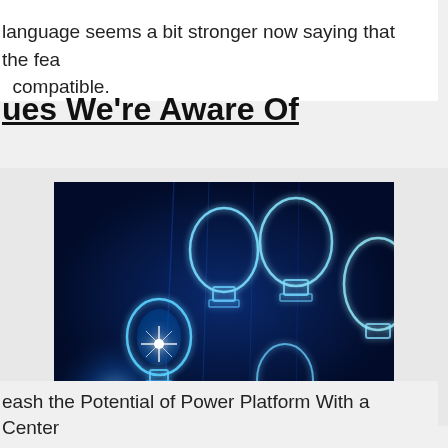language seems a bit stronger now saying that the features are compatible.
ues We're Aware Of
[Figure (photo): Photo of multiple glowing blue light bulbs against a dark blue background, with one bulb on the left emitting a bright star-shaped light flare.]
eash the Potential of Power Platform With a Center